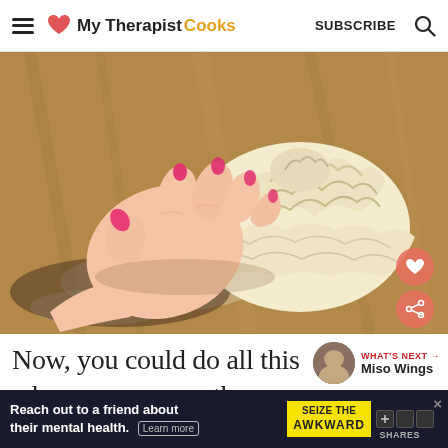My Therapist Cooks | SUBSCRIBE
[Figure (photo): A hand with pink/red nail polish gathering and pinching together pastry dough on a wooden board, forming a Wellington-style parcel]
Now, you could do all this in advance and keep the wellingtons in the fridge for a few hours,
[Figure (photo): WHAT'S NEXT → Miso Wings thumbnail widget]
Reach out to a friend about their mental health. Learn more | SEIZE THE AWKWARD